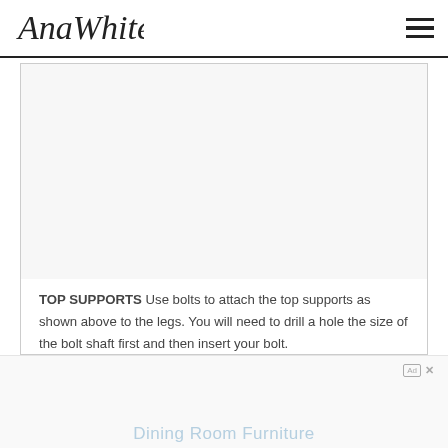AnaWhite
[Figure (illustration): Blank/white image area placeholder showing a furniture construction diagram (top supports attached to legs with bolts)]
TOP SUPPORTS Use bolts to attach the top supports as shown above to the legs. You will need to drill a hole the size of the bolt shaft first and then insert your bolt.
Dining Room Furniture